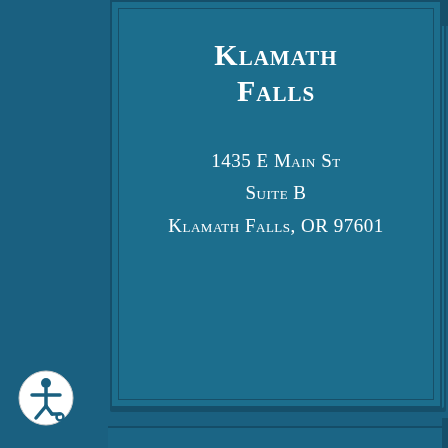Klamath Falls
1435 E Main St
Suite B
Klamath Falls, OR 97601
Grants Pass
160 SE G St
Grants Pass, OR 97526
[Figure (illustration): Accessibility icon button (wheelchair person in circle) in bottom-left corner]